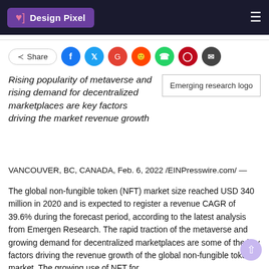Design Pixel
[Figure (other): Social share bar with Share button and social media icons: Facebook, Twitter, Google+, Reddit, WhatsApp, Pinterest, Email]
Rising popularity of metaverse and rising demand for decentralized marketplaces are key factors driving the market revenue growth
[Figure (logo): Emerging research logo placeholder box]
VANCOUVER, BC, CANADA, Feb. 6, 2022 /EINPresswire.com/ —
The global non-fungible token (NFT) market size reached USD 340 million in 2020 and is expected to register a revenue CAGR of 39.6% during the forecast period, according to the latest analysis from Emergen Research. The rapid traction of the metaverse and growing demand for decentralized marketplaces are some of the key factors driving the revenue growth of the global non-fungible tokens market. The growing use of NFT for